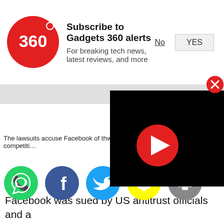[Figure (logo): Gadgets 360 red circle logo with '360' text]
Subscribe to Gadgets 360 alerts
For breaking tech news, latest reviews, and more
No   YES
The lawsuits accuse Facebook of thwarting competiti…
[Figure (screenshot): Social sharing icons: WhatsApp (green), Facebook (blue), Twitter (light blue), Snapchat (yellow), scroll-up (gray)]
[Figure (screenshot): Black video player overlay with red play button, and red X close button]
Facebook was sued by US antitrust officials and a